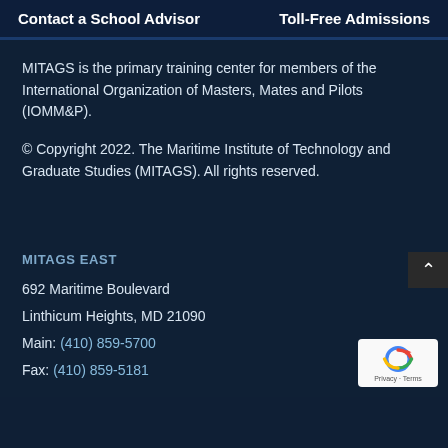Contact a School Advisor    Toll-Free Admissions
MITAGS is the primary training center for members of the International Organization of Masters, Mates and Pilots (IOMM&P).
© Copyright 2022. The Maritime Institute of Technology and Graduate Studies (MITAGS). All rights reserved.
MITAGS EAST
692 Maritime Boulevard
Linthicum Heights, MD 21090
Main: (410) 859-5700
Fax: (410) 859-5181